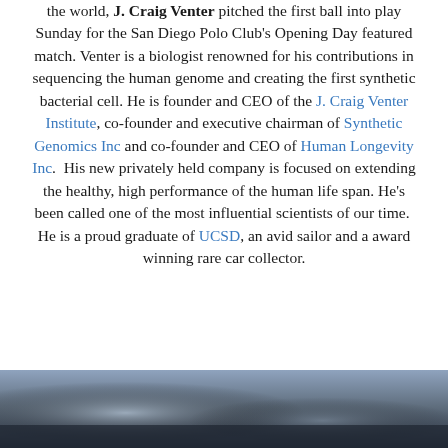the world, J. Craig Venter pitched the first ball into play Sunday for the San Diego Polo Club's Opening Day featured match. Venter is a biologist renowned for his contributions in sequencing the human genome and creating the first synthetic bacterial cell. He is founder and CEO of the J. Craig Venter Institute, co-founder and executive chairman of Synthetic Genomics Inc and co-founder and CEO of Human Longevity Inc.  His new privately held company is focused on extending the healthy, high performance of the human life span. He's been called one of the most influential scientists of our time.  He is a proud graduate of UCSD, an avid sailor and a award winning rare car collector.
[Figure (photo): Partial photo at bottom of page showing a dark bluish outdoor scene, partially cropped.]